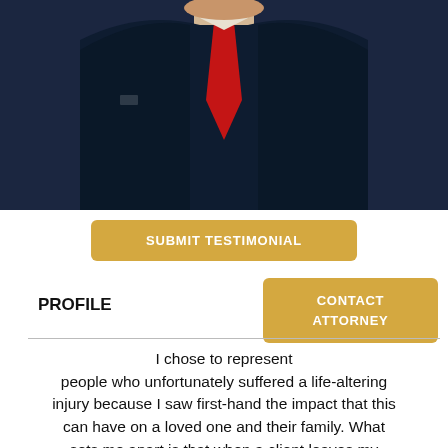[Figure (photo): Portrait photo of an attorney wearing a dark navy suit and red tie, cropped from chest up]
SUBMIT TESTIMONIAL
PROFILE
CONTACT ATTORNEY
I chose to represent people who unfortunately suffered a life-altering injury because I saw first-hand the impact that this can have on a loved one and their family. What sets me apart is that when a client leaves my office, they have peace of mind knowing that they and their family will be protected. I have been